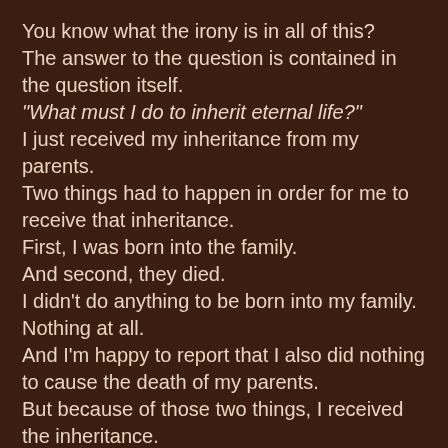You know what the irony is in all of this?
The answer to the question is contained in the question itself.
"What must I do to inherit eternal life?"
I just received my inheritance from my parents.
Two things had to happen in order for me to receive that inheritance.
First, I was born into the family.
And second, they died.
I didn't do anything to be born into my family.  Nothing at all.
And I'm happy to report that I also did nothing to cause the death of my parents.
But because of those two things, I received the inheritance.
"What must I do to inherit eternal life?"
Two things.
Be created as a child of God.
And then, God has to die. . .
Still the questions persist.
"Well, what then must I do to become a child of God, so that I might inherit eternal life?"
There is nothing we can do to become someone's child.
That we became our parent's children was the result of